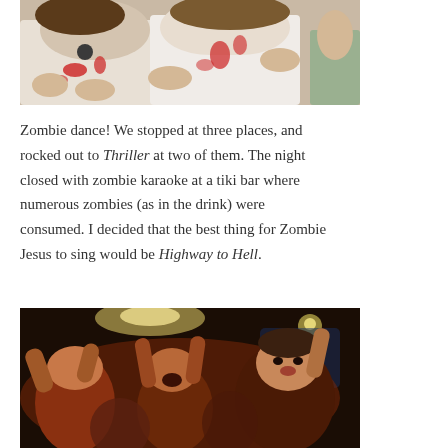[Figure (photo): Two women in zombie costumes with fake blood on white shirts, making claw-like gestures with their hands, close-up photo]
Zombie dance! We stopped at three places, and rocked out to Thriller at two of them. The night closed with zombie karaoke at a tiki bar where numerous zombies (as in the drink) were consumed. I decided that the best thing for Zombie Jesus to sing would be Highway to Hell.
[Figure (photo): Crowd of people dancing and singing with arms raised in a dark bar with warm orange/red lighting]